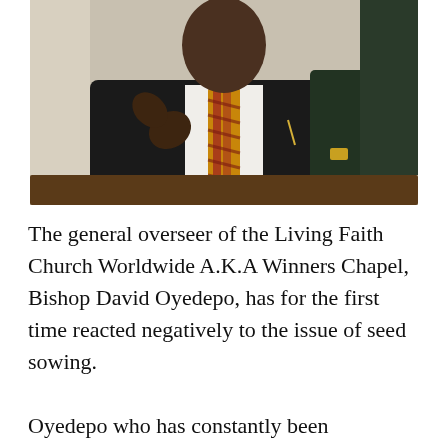[Figure (photo): A man in a dark suit and a gold and red patterned tie, seated, pointing or gesturing with one hand, photographed from chest up]
The general overseer of the Living Faith Church Worldwide A.K.A Winners Chapel, Bishop David Oyedepo, has for the first time reacted negatively to the issue of seed sowing.
Oyedepo who has constantly been embroidered